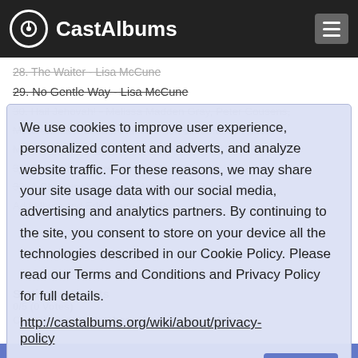CastAlbums
28. The Waiter - Lisa McCune
29. No Gentle Way - Lisa McCune
30. Hail Jehovah! - Melissa Madden Gray, Peter Cousens, Matthew MacFadane, Marina Prior, Lisa McCune, Kate Miller-Heidke, Hugh Sheridan, Chorus
31. The Fitting Glove - Hugh Sheridan
32. A Charismatic Voice - Marina Prior, John O'May
We use cookies to improve user experience, personalized content and adverts, and analyze website traffic. For these reasons, we may share your site usage data with our social media, advertising and analytics partners. By continuing to the site, you consent to store on your device all the technologies described in our Cookie Policy. Please read our Terms and Conditions and Privacy Policy for full details. http://castalbums.org/wiki/about/privacy-policy
Statistics & Lists
0/5 (0 Votes)
Contributors to database: Recollector  More